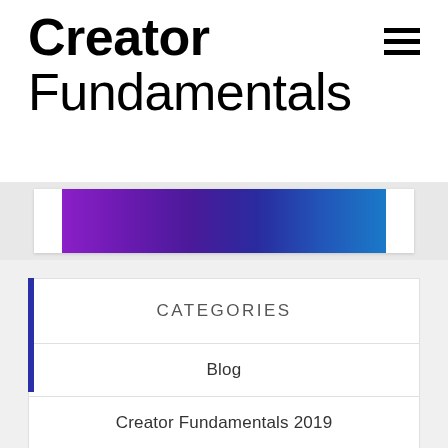Creator Fundamentals
[Figure (illustration): Purple to blue gradient banner strip with a hamburger menu icon in the top right]
CATEGORIES
Blog
Creator Fundamentals 2019
General
Milestones
Season One
Small YouTuber Experience